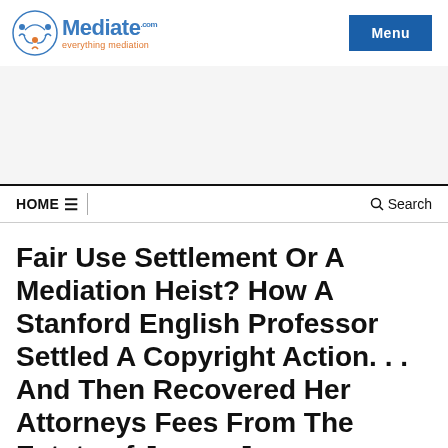[Figure (logo): Mediate.com logo with icon and tagline 'everything mediation']
Menu
HOME ≡    Search
Fair Use Settlement Or A Mediation Heist? How A Stanford English Professor Settled A Copyright Action. . . And Then Recovered Her Attorneys Fees From The Estate of James Joyce